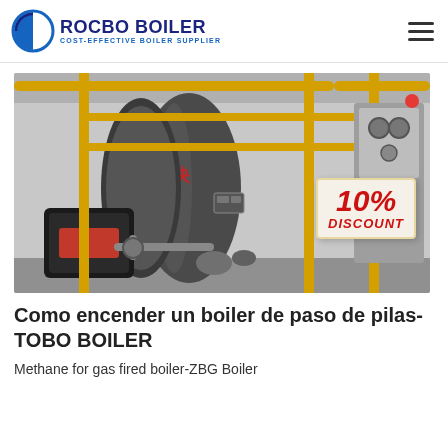ROCBO BOILER - COST-EFFECTIVE BOILER SUPPLIER
[Figure (photo): Industrial gas-fired boiler with yellow safety railings and a red 10% DISCOUNT badge overlay. Chinese characters visible on the boiler body.]
Como encender un boiler de paso de pilas-TOBO BOILER
Methane for gas fired boiler-ZBG Boiler